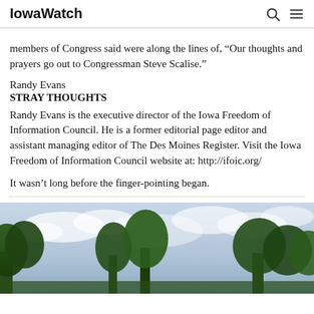IowaWatch
members of Congress said were along the lines of, “Our thoughts and prayers go out to Congressman Steve Scalise.”
Randy Evans
STRAY THOUGHTS
Randy Evans is the executive director of the Iowa Freedom of Information Council. He is a former editorial page editor and assistant managing editor of The Des Moines Register. Visit the Iowa Freedom of Information Council website at: http://ifoic.org/
It wasn’t long before the finger-pointing began.
[Figure (photo): Outdoor photo showing trees with green foliage against a cloudy blue-white sky]